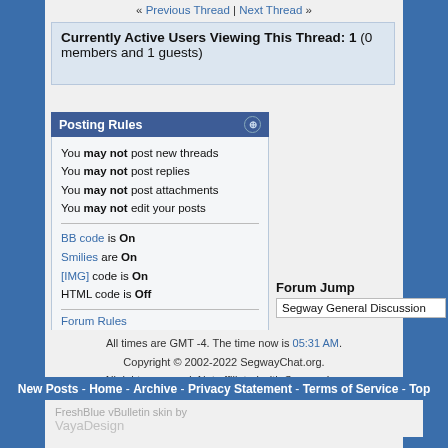« Previous Thread | Next Thread »
Currently Active Users Viewing This Thread: 1 (0 members and 1 guests)
Posting Rules
You may not post new threads
You may not post replies
You may not post attachments
You may not edit your posts
BB code is On
Smilies are On
[IMG] code is On
HTML code is Off
Forum Rules
Forum Jump
Segway General Discussion
All times are GMT -4. The time now is 05:31 AM.
Copyright © 2002-2022 SegwayChat.org.
All rights reserved. Not affiliated with Segway Inc.
New Posts - Home - Archive - Privacy Statement - Terms of Service - Top
FreshBlue vBulletin skin by
VayaDesign